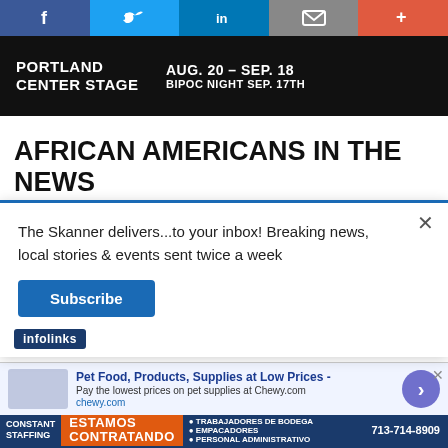Social sharing bar: Facebook, Twitter, LinkedIn, Email, More
[Figure (photo): Portland Center Stage advertisement banner: AUG. 20 – SEP. 18, BIPOC NIGHT SEP. 17TH]
AFRICAN AMERICANS IN THE NEWS
[Figure (photo): Thumbnail image of flowers/nature scene]
Texas children grapple with trauma after school massacre
The Skanner delivers...to your inbox! Breaking news, local stories & events sent twice a week
Subscribe
[Figure (infographic): Infolinks badge]
[Figure (infographic): Pet Food, Products, Supplies at Low Prices - Pay the lowest prices on pet supplies at Chewy.com — chewy.com]
[Figure (infographic): Constant Staffing — ESTAMOS CONTRATANDO — BILINGÜES — TRABAJADORES DE BODEGA, EMPACADORES, PERSONAL ADMINISTRATIVO — 713-714-8909]